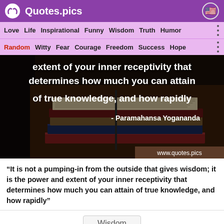Quotes.pics
Love  Life  Inspirational  Funny  Wisdom  Truth  Humor
Random  Witty  Fear  Courage  Freedom  Success  Hope
[Figure (photo): Stack of books with quote overlay: 'extent of your inner receptivity that determines how much you can attain of true knowledge, and how rapidly - Paramahansa Yogananda' and www.quotes.pics watermark]
“It is not a pumping-in from the outside that gives wisdom; it is the power and extent of your inner receptivity that determines how much you can attain of true knowledge, and how rapidly”
Wisdom